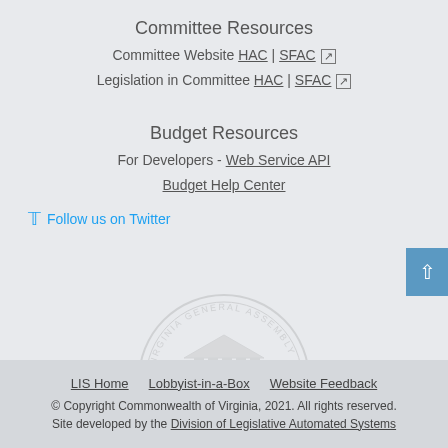Committee Resources
Committee Website HAC | SFAC [external link]
Legislation in Committee HAC | SFAC [external link]
Budget Resources
For Developers - Web Service API
Budget Help Center
Follow us on Twitter
[Figure (illustration): Virginia General Assembly seal watermark, circular with columns building in center]
LIS Home   Lobbyist-in-a-Box   Website Feedback
© Copyright Commonwealth of Virginia, 2021. All rights reserved.
Site developed by the Division of Legislative Automated Systems